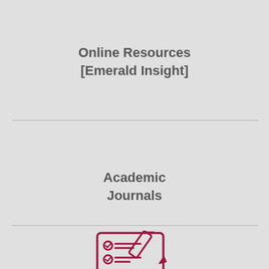Online Resources [Emerald Insight]
Academic Journals
[Figure (illustration): Line icon of a computer monitor displaying a document with checkboxes and a pencil overlaid, in dark red/crimson color on light grey background. Represents academic journals or online resources.]